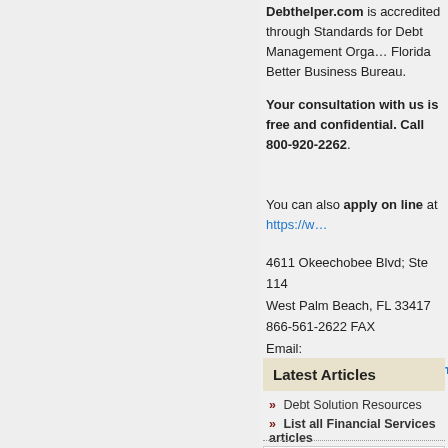Debthelper.com is accredited through Standards for Debt Management Organizations, Florida Better Business Bureau.
Your consultation with us is free and confidential. Call 800-920-2262.
You can also apply on line at https://w...
4611 Okeechobee Blvd; Ste 114
West Palm Beach, FL 33417
866-561-2622 FAX
Email:
Website: www.debthelper.com
Latest Articles
Debt Solution Resources
List all Financial Services articles
[Figure (other): Graduate And Post Graduate Programs image (broken image placeholder)]